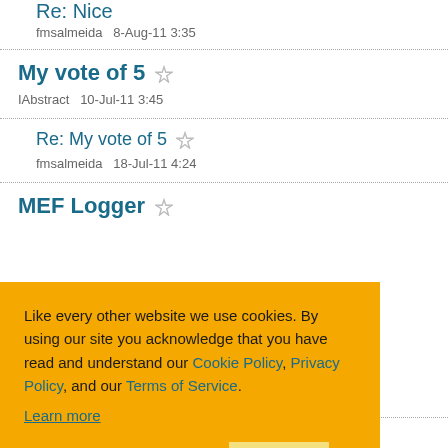Re: Nice
fmsalmeida   8-Aug-11 3:35
My vote of 5
IAbstract   10-Jul-11 3:45
Re: My vote of 5
fmsalmeida   18-Jul-11 4:24
MEF Logger
[Figure (screenshot): Cookie consent banner with orange background. Text: 'Like every other website we use cookies. By using our site you acknowledge that you have read and understand our Cookie Policy, Privacy Policy, and our Terms of Service. Learn more'. Buttons: Ask me later, Decline, Allow cookies.]
fmsalmeida   12-Apr-11 1:29